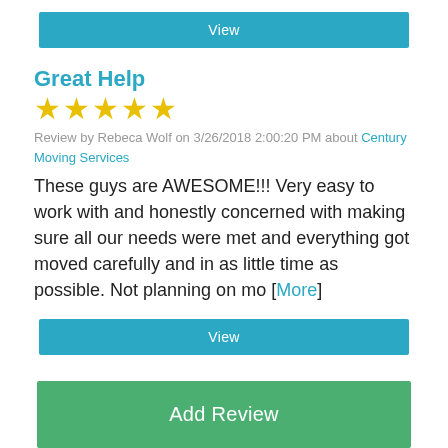[Figure (other): Teal 'View' button at top]
Great Help
[Figure (other): 5 gold star rating icons]
Review by Rebeca Wolf on 3/26/2018 2:00:20 PM about Century Moving Services
These guys are AWESOME!!! Very easy to work with and honestly concerned with making sure all our needs were met and everything got moved carefully and in as little time as possible. Not planning on mo [More]
[Figure (other): Teal 'View' button at bottom]
[Figure (other): Green 'Add Review' button]